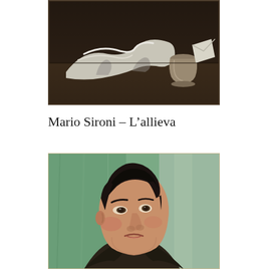[Figure (photo): A dark-toned still life painting showing a white cloth/draped fabric and a ceramic jug/vessel on a table against a very dark background. The composition is rendered in muted browns, grays, and whites.]
Mario Sironi – L’allieva
[Figure (photo): A portrait painting of a young man shown in three-quarter view against a green background. He has dark hair, angular features, and is wearing a dark jacket with a white collar. The painting style is modernist/realist with bold brushwork.]